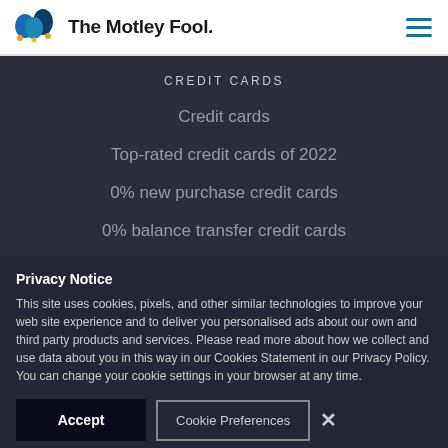[Figure (logo): The Motley Fool logo with jester hat icon and wordmark]
CREDIT CARDS
Credit cards
Top-rated credit cards of 2022
0% new purchase credit cards
0% balance transfer credit cards
Privacy Notice
This site uses cookies, pixels, and other similar technologies to improve your web site experience and to deliver you personalised ads about our own and third party products and services. Please read more about how we collect and use data about you in this way in our Cookies Statement in our Privacy Policy. You can change your cookie settings in your browser at any time.
Accept
Cookie Preferences